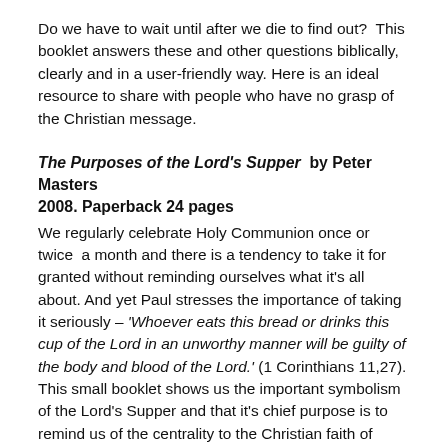Do we have to wait until after we die to find out?  This booklet answers these and other questions biblically, clearly and in a user-friendly way. Here is an ideal resource to share with people who have no grasp of the Christian message.
The Purposes of the Lord's Supper  by Peter Masters 2008. Paperback 24 pages
We regularly celebrate Holy Communion once or twice  a month and there is a tendency to take it for granted without reminding ourselves what it's all about. And yet Paul stresses the importance of taking it seriously – 'Whoever eats this bread or drinks this cup of the Lord in an unworthy manner will be guilty of the body and blood of the Lord.' (1 Corinthians 11,27). This small booklet shows us the important symbolism of the Lord's Supper and that it's chief purpose is to remind us of the centrality to the Christian faith of Jesus' atoning sacrificial death on the cross. It helps us to prepare